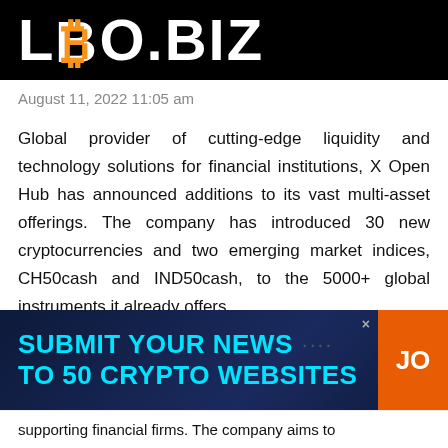LBO.BIZ
August 11, 2022 11:05 am
Global provider of cutting-edge liquidity and technology solutions for financial institutions, X Open Hub has announced additions to its vast multi-asset offerings. The company has introduced 30 new cryptocurrencies and two emerging market indices, CH50cash and IND50cash, to the 5000+ global instruments it already offers.
[Figure (infographic): Advertisement banner: SUBMIT YOUR NEWS TO 50 CRYPTO WEBSITES with orange JOIN button]
supporting financial firms. The company aims to